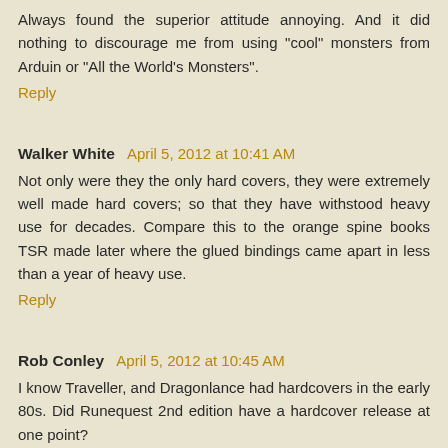Always found the superior attitude annoying. And it did nothing to discourage me from using "cool" monsters from Arduin or "All the World's Monsters".
Reply
Walker White  April 5, 2012 at 10:41 AM
Not only were they the only hard covers, they were extremely well made hard covers; so that they have withstood heavy use for decades. Compare this to the orange spine books TSR made later where the glued bindings came apart in less than a year of heavy use.
Reply
Rob Conley  April 5, 2012 at 10:45 AM
I know Traveller, and Dragonlance had hardcovers in the early 80s. Did Runequest 2nd edition have a hardcover release at one point?
Reply